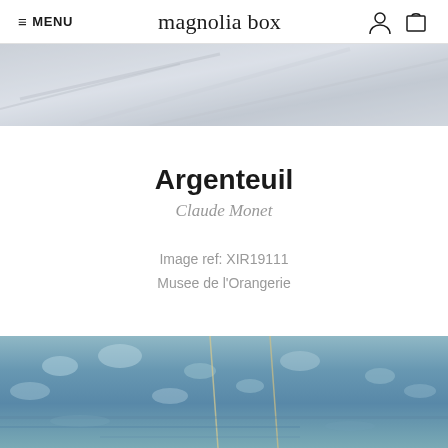≡ MENU | magnolia box | [user icon] [cart icon]
[Figure (photo): Top portion of an impressionist painting showing pale grey-white brushstrokes, likely sky or water detail from Argenteuil by Claude Monet]
Argenteuil
Claude Monet
Image ref: XIR19111
Musee de l'Orangerie
[Figure (photo): Bottom portion of Argenteuil painting by Claude Monet showing blue-green impressionist water scene with masts and reflections]